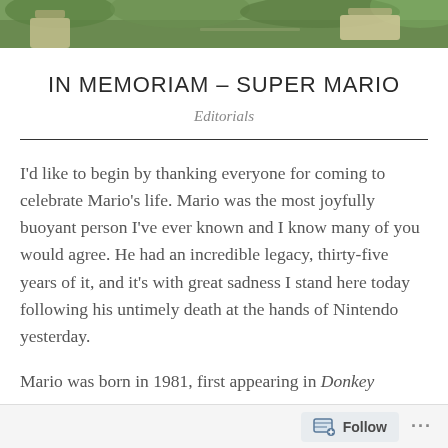[Figure (photo): Outdoor garden/park scene header photo strip showing green foliage and outdoor furniture]
IN MEMORIAM – SUPER MARIO
Editorials
I'd like to begin by thanking everyone for coming to celebrate Mario's life. Mario was the most joyfully buoyant person I've ever known and I know many of you would agree. He had an incredible legacy, thirty-five years of it, and it's with great sadness I stand here today following his untimely death at the hands of Nintendo yesterday.
Mario was born in 1981, first appearing in Donkey
Follow ...